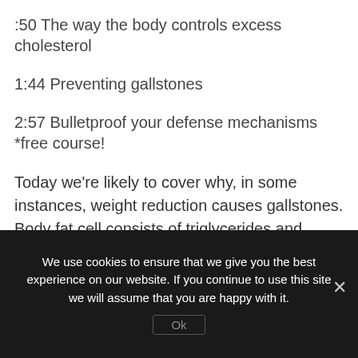:50 The way the body controls excess cholesterol
1:44 Preventing gallstones
2:57 Bulletproof your defense mechanisms *free course!
Today we're likely to cover why, in some instances, weight reduction causes gallstones. Body fat cell consists of triglycerides and cholesterol. Whenever a person starts slimming down, the cholesterol will emerge. For this reason many people have greater cholesterol once they begin keto.
We use cookies to ensure that we give you the best experience on our website. If you continue to use this site we will assume that you are happy with it.